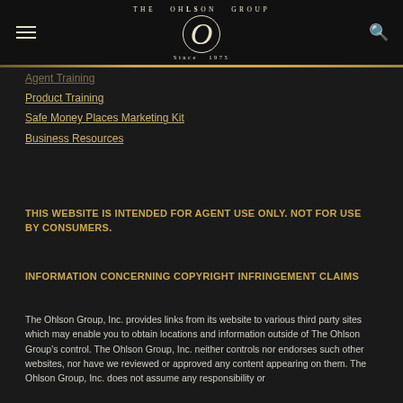THE OHLSON GROUP Since 1975
Agent Training
Product Training
Safe Money Places Marketing Kit
Business Resources
THIS WEBSITE IS INTENDED FOR AGENT USE ONLY. NOT FOR USE BY CONSUMERS.
INFORMATION CONCERNING COPYRIGHT INFRINGEMENT CLAIMS
The Ohlson Group, Inc. provides links from its website to various third party sites which may enable you to obtain locations and information outside of The Ohlson Group's control. The Ohlson Group, Inc. neither controls nor endorses such other websites, nor have we reviewed or approved any content appearing on them. The Ohlson Group, Inc. does not assume any responsibility or